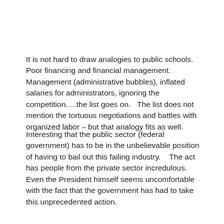It is not hard to draw analogies to public schools.  Poor financing and financial management.  Management (administrative bubbles), inflated salaries for administrators, ignoring the competition.....the list goes on.  The list does not mention the tortuous negotiations and battles with organized labor – but that analogy fits as well.
Interesting that the public sector (federal government) has to be in the unbelievable position of having to bail out this failing industry.   The act has people from the private sector incredulous.  Even the President himself seems uncomfortable with the fact that the government has had to take this unprecedented action.